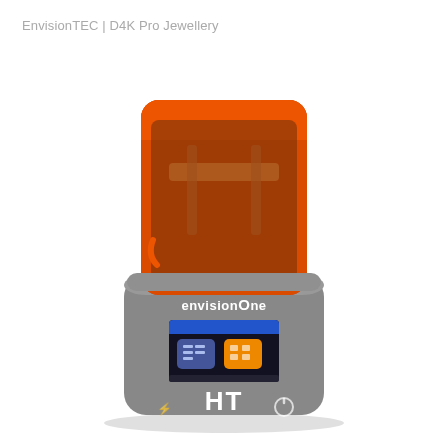EnvisionTEC | D4K Pro Jewellery
[Figure (photo): Front-facing product photo of the EnvisionTEC envisionOne HT 3D printer. The device has a large transparent orange/amber UV-blocking cover over the top printing chamber, and a grey lower base unit. The base features the 'envisionOne' logo in white text, a small color touchscreen LCD showing the printer interface with blue and orange icons, the 'HT' logo in large white letters, a USB port icon, and a circular button on the front.]